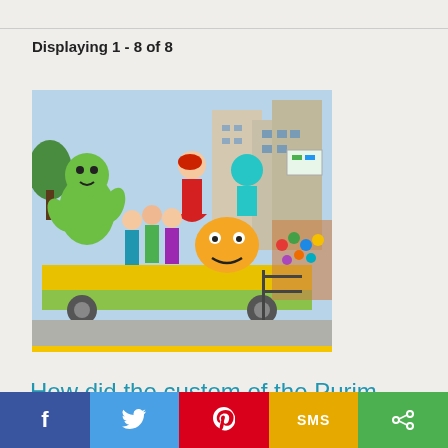Displaying 1 - 8 of 8
[Figure (photo): Colorful Purim carnival parade float with costumed performers including a large green cartoon character, people in colorful costumes, and crowds lining the street in what appears to be an Israeli city.]
How did the custom of the Purim carnival develop?
Answered by Rabbi Victor S. Appell
f  [twitter bird]  [pinterest]  SMS  [share]